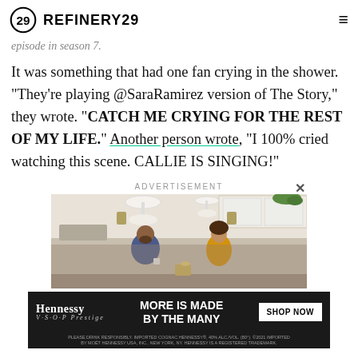REFINERY29
episode in season 7.
It was something that had one fan crying in the shower. "They're playing @SaraRamirez version of The Story," they wrote. "CATCH ME CRYING FOR THE REST OF MY LIFE." Another person wrote, "I 100% cried watching this scene. CALLIE IS SINGING!"
ADVERTISEMENT
[Figure (photo): Advertisement showing two people in a kitchen — a man and a woman talking, bright modern kitchen setting]
[Figure (infographic): Hennessy V.S.O.P Privilège banner ad with text MORE IS MADE BY THE MANY and SHOP NOW button]